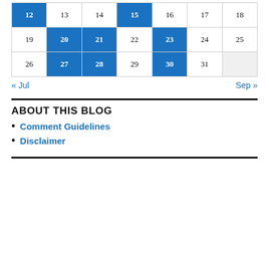| 12 | 13 | 14 | 15 | 16 | 17 | 18 |
| 19 | 20 | 21 | 22 | 23 | 24 | 25 |
| 26 | 27 | 28 | 29 | 30 | 31 |  |
« Jul    Sep »
ABOUT THIS BLOG
Comment Guidelines
Disclaimer